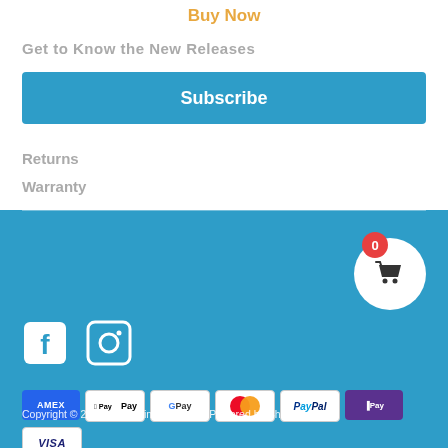Buy Now
Get to Know the New Releases
Subscribe
Returns
Warranty
[Figure (other): Shopping cart icon with badge showing 0]
[Figure (other): Facebook and Instagram social media icons]
[Figure (other): Payment method icons: American Express, Apple Pay, Google Pay, Mastercard, PayPal, Shop Pay, Visa]
Copyright © 2022 GizmoVine US Store. Powered by Shopify